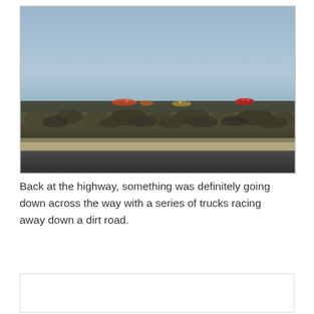[Figure (photo): Dusk landscape photo taken from a roadside. The foreground shows a dark asphalt road edge. A band of dry scrubby brush and low vegetation runs across the middle. On the horizon there are distant glowing lights — red and amber — visible across a flat expanse. The sky above is a muted blue-grey twilight.]
Back at the highway, something was definitely going down across the way with a series of trucks racing away down a dirt road.